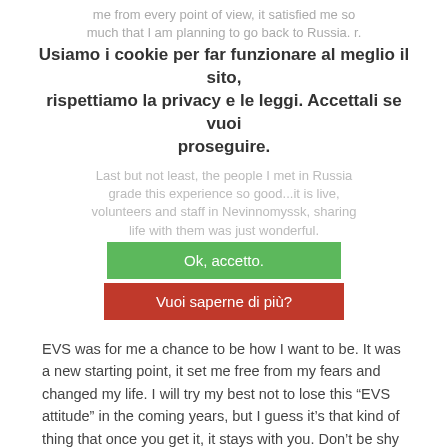me from every point of view, it satisfied me so much that I am planning to go back to Russia. r.
Usiamo i cookie per far funzionare al meglio il sito, rispettiamo la privacy e le leggi. Accettali se vuoi proseguire.
Last but not least, the people I met in Russia grade this experience so good...it is live, volunteers and staff in Nevinnomyssk, sharing life with them was just wonderful.
Ok, accetto.
Vuoi saperne di più?
EVS was for me a chance to be how I want to be. It was a new starting point, it set me free from my fears and changed my life. I will try my best not to lose this “EVS attitude” in the coming years, but I guess it’s that kind of thing that once you get it, it stays with you. Don’t be shy and join EVS, it’s the right choice!!